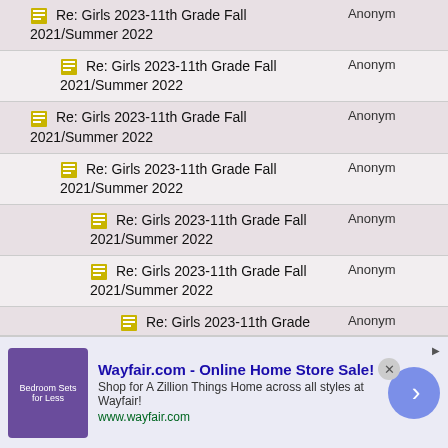Re: Girls 2023-11th Grade Fall 2021/Summer 2022 | Anonymous
Re: Girls 2023-11th Grade Fall 2021/Summer 2022 | Anonymous
Re: Girls 2023-11th Grade Fall 2021/Summer 2022 | Anonymous
Re: Girls 2023-11th Grade Fall 2021/Summer 2022 | Anonymous
Re: Girls 2023-11th Grade Fall 2021/Summer 2022 | Anonymous
Re: Girls 2023-11th Grade Fall 2021/Summer 2022 | Anonymous
Re: Girls 2023-11th Grade Fall 2021/Summer 2022 | Anonymous
Re: Girls 2023-11th Grade Fall 2021/Summer 2022 | Anonymous
Re: Girls 2023-11th Grade Fall 2021/Summer 2022 | Anonymous
[Figure (other): Wayfair.com advertisement banner - Online Home Store Sale]